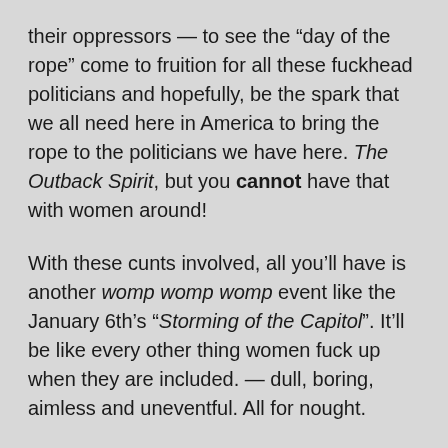their oppressors — to see the “day of the rope” come to fruition for all these fuckhead politicians and hopefully, be the spark that we all need here in America to bring the rope to the politicians we have here. The Outback Spirit, but you cannot have that with women around!
With these cunts involved, all you’ll have is another womp womp womp event like the January 6th’s “Storming of the Capitol”. It’ll be like every other thing women fuck up when they are included. — dull, boring, aimless and uneventful. All for nought.